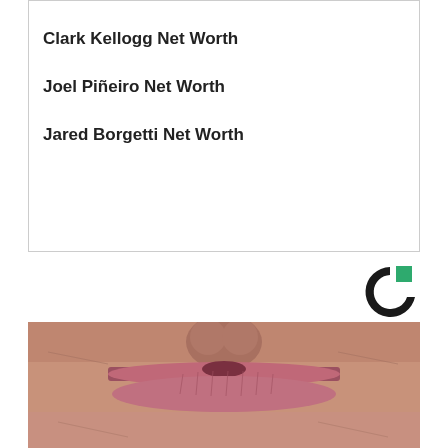Clark Kellogg Net Worth
Joel Piñeiro Net Worth
Jared Borgetti Net Worth
[Figure (logo): Circular logo with green square accent, black C shape]
[Figure (photo): Extreme close-up photograph of an elderly person's mouth and lips area showing wrinkled skin]